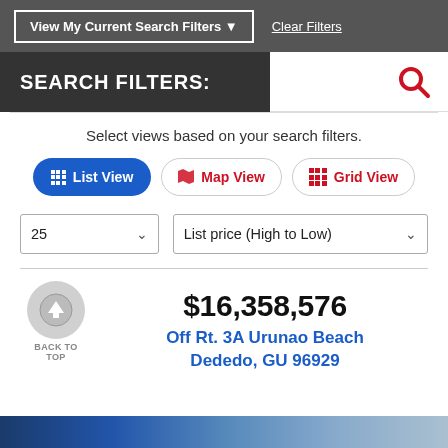View My Current Search Filters ▼
Clear Filters
SEARCH FILTERS:
Select views based on your search filters.
List View
Map View
Grid View
25
List price (High to Low)
$16,358,576
Off Rt. 3A Urunao Beach
Dededo, GU 96929
BACK TO
TOP